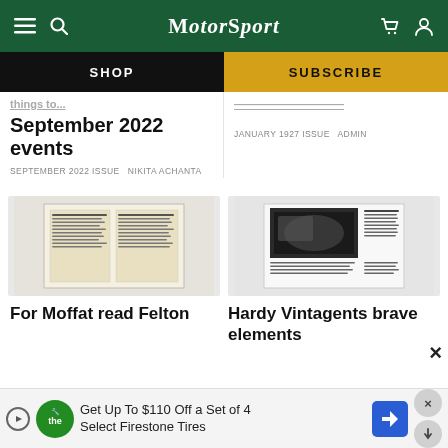MotorSport
SHOP
SUBSCRIBE
September 2022 events
SEPTEMBER 2022 ISSUE  NIKITA ACHANTA
JANUARY 1927 ISSUE  ADMIN
[Figure (photo): Thumbnail of a vintage Motor Sport magazine page with dense text columns]
[Figure (photo): Thumbnail of a Motor Sport magazine page with a dark photograph and text columns]
For Moffat read Felton
Hardy Vintagents brave elements
Get Up To $110 Off a Set of 4 Select Firestone Tires